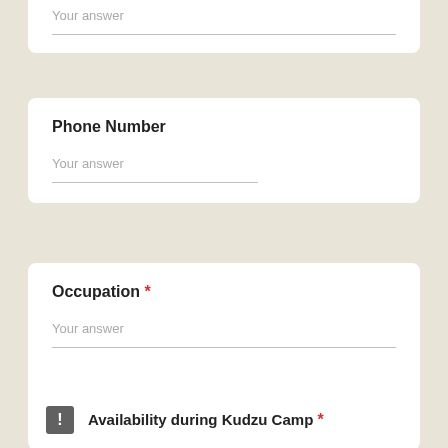Your answer
Phone Number
Your answer
Occupation *
Your answer
Availability during Kudzu Camp *